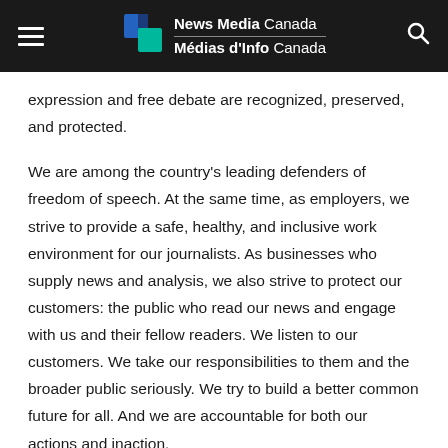News Media Canada / Médias d'Info Canada
expression and free debate are recognized, preserved, and protected.
We are among the country's leading defenders of freedom of speech. At the same time, as employers, we strive to provide a safe, healthy, and inclusive work environment for our journalists. As businesses who supply news and analysis, we also strive to protect our customers: the public who read our news and engage with us and their fellow readers. We listen to our customers. We take our responsibilities to them and the broader public seriously. We try to build a better common future for all. And we are accountable for both our actions and inaction.